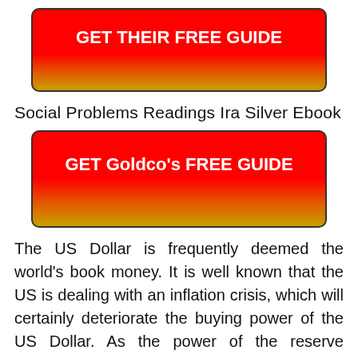[Figure (other): Red to yellow gradient button with bold white text reading GET THEIR FREE GUIDE]
Social Problems Readings Ira Silver Ebook
[Figure (other): Red to yellow gradient button with bold white text reading GET Goldco's FREE GUIDE]
The US Dollar is frequently deemed the world’s book money. It is well known that the US is dealing with an inflation crisis, which will certainly deteriorate the buying power of the US Dollar. As the power of the reserve currency lowers, people not simply in the